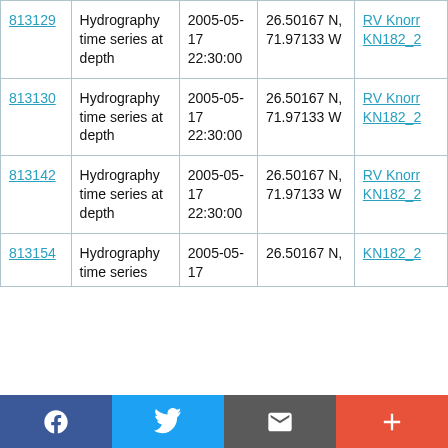| 813129 | Hydrography time series at depth | 2005-05-17 22:30:00 | 26.50167 N, 71.97133 W | RV Knorr KN182_2 |
| 813130 | Hydrography time series at depth | 2005-05-17 22:30:00 | 26.50167 N, 71.97133 W | RV Knorr KN182_2 |
| 813142 | Hydrography time series at depth | 2005-05-17 22:30:00 | 26.50167 N, 71.97133 W | RV Knorr KN182_2 |
| 813154 | Hydrography time series ... | 2005-05-17 ... | 26.50167 N, ... | KN182_2 ... |